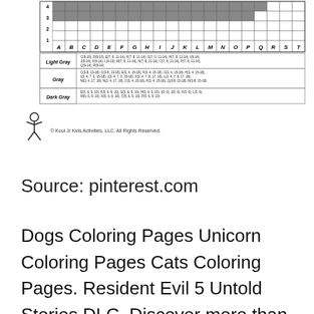[Figure (other): Pixel art grid chart with colored cells and letter/number axes, followed by a legend table for Light Gray, Gray, and Dark Gray colors with coordinate instructions]
[Figure (illustration): Stick figure logo of Kool Jr Kids Activities LLC]
© Kool Jr Kids Activities, LLC. All Rights Reserved.
Source: pinterest.com
Dogs Coloring Pages Unicorn Coloring Pages Cats Coloring Pages. Resident Evil 5 Untold Stories DLC. Discover more than 15000 artworks or create your own pixel art.